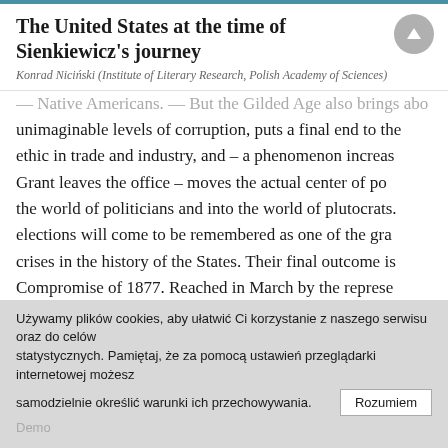The United States at the time of Sienkiewicz's journey
Konrad Niciński (Institute of Literary Research, Polish Academy of Sciences)
Native Americans. — But the Gilded Age also brings about unimaginable levels of corruption, puts a final end to the ethic in trade and industry, and – a phenomenon increasingly Grant leaves the office – moves the actual center of po the world of politicians and into the world of plutocrats. elections will come to be remembered as one of the gra crises in the history of the States. Their final outcome is Compromise of 1877. Reached in March by the represe two parties (after fraud accusations effectively subverte
Używamy plików cookies, aby ułatwić Ci korzystanie z naszego serwisu oraz do celów statystycznych. Pamiętaj, że za pomocą ustawień przeglądarki internetowej możesz samodzielnie określić warunki ich przechowywania.